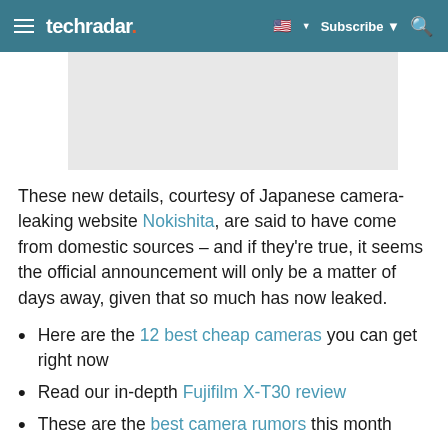techradar — Subscribe
[Figure (photo): Gray image placeholder/advertisement area]
These new details, courtesy of Japanese camera-leaking website Nokishita, are said to have come from domestic sources – and if they're true, it seems the official announcement will only be a matter of days away, given that so much has now leaked.
Here are the 12 best cheap cameras you can get right now
Read our in-depth Fujifilm X-T30 review
These are the best camera rumors this month